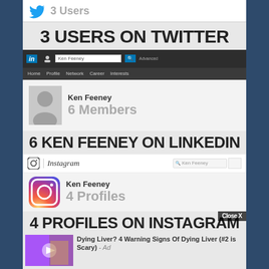[Figure (screenshot): Twitter search screenshot showing 3 Users result]
3 USERS ON TWITTER
[Figure (screenshot): LinkedIn search screenshot for Ken Feeney showing 6 Members]
6 KEN FEENEY ON LINKEDIN
[Figure (screenshot): Instagram search screenshot for Ken Feeney showing 4 Profiles]
4 PROFILES ON INSTAGRAM
Dying Liver? 4 Warning Signs Of Dying Liver (#2 is Scary) - Ad